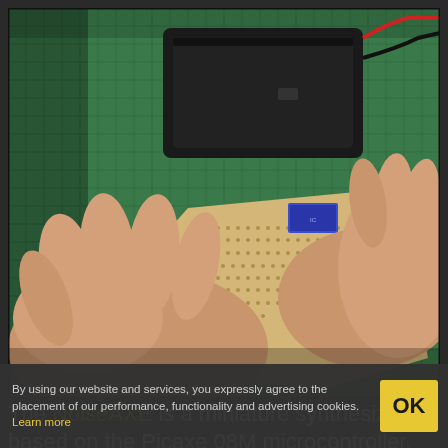[Figure (photo): Hands holding a small DIY circuit board (breadboard-style PCB) with electronic components, a black battery holder with red and black wires, on a green cutting mat background.]
The NoiseAXE is a miniature synthesizer based on the Picaxe 08M microcontroller.  Its
By using our website and services, you expressly agree to the placement of our performance, functionality and advertising cookies. Learn more